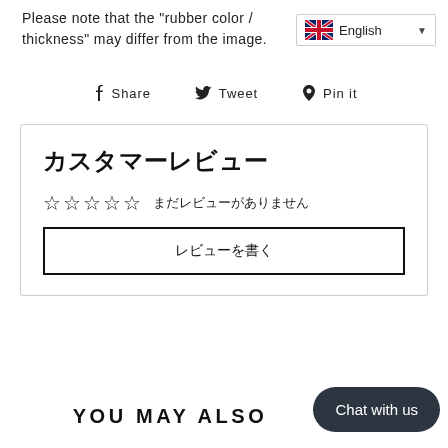Please note that the "rubber color / thickness" may differ from the image.
[Figure (screenshot): Language selector widget showing UK flag and 'English' with dropdown arrow]
Share  Tweet  Pin it
カスタマーレビュー
☆☆☆☆☆  まだレビューがありません
レビューを書く
YOU MAY ALSO
Chat with us